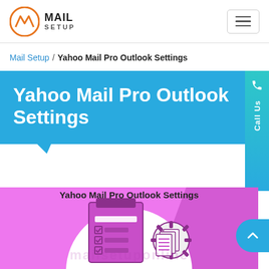Mail Setup
Mail Setup / Yahoo Mail Pro Outlook Settings
Yahoo Mail Pro Outlook Settings
[Figure (illustration): Pink background illustration with checklist clipboard and settings gear icons, watermarked with 'mailsetuponline' text. Caption reads: Yahoo Mail Pro Outlook Settings]
Yahoo Mail Pro Outlook Settings